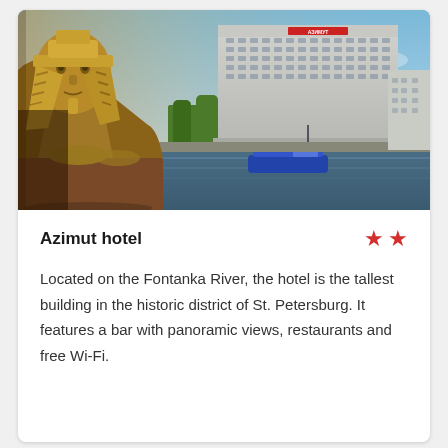[Figure (photo): Exterior photo of Azimut Hotel in St. Petersburg with a golden sphinx statue in the foreground on the left, the large modern hotel building with AZIMUT signage in the background center, trees, a river with a blue boat, and a clear blue sky.]
Azimut hotel
Located on the Fontanka River, the hotel is the tallest building in the historic district of St. Petersburg. It features a bar with panoramic views, restaurants and free Wi-Fi.